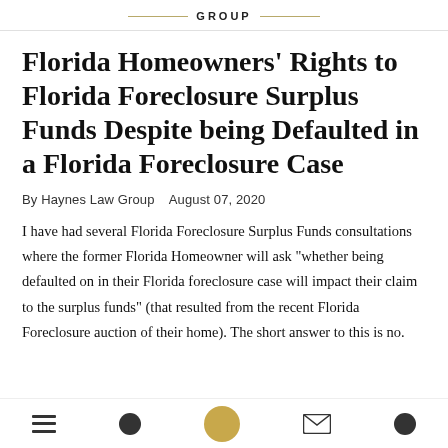GROUP
Florida Homeowners' Rights to Florida Foreclosure Surplus Funds Despite being Defaulted in a Florida Foreclosure Case
By Haynes Law Group   August 07, 2020
I have had several Florida Foreclosure Surplus Funds consultations where the former Florida Homeowner will ask "whether being defaulted on in their Florida foreclosure case will impact their claim to the surplus funds" (that resulted from the recent Florida Foreclosure auction of their home). The short answer to this is no.
Navigation icons: menu, profile, home, mail, more